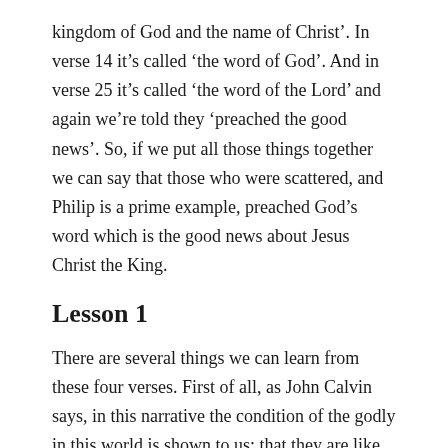kingdom of God and the name of Christ'. In verse 14 it's called 'the word of God'. And in verse 25 it's called 'the word of the Lord' and again we're told they 'preached the good news'. So, if we put all those things together we can say that those who were scattered, and Philip is a prime example, preached God's word which is the good news about Jesus Christ the King.
Lesson 1
There are several things we can learn from these four verses. First of all, as John Calvin says, in this narrative the condition of the godly in this world is shown to us: that they are like sheep destined for the slaughter; and especially when the Lord gives freedom of rein to his enemies. Beginning on that day, when Stephen was